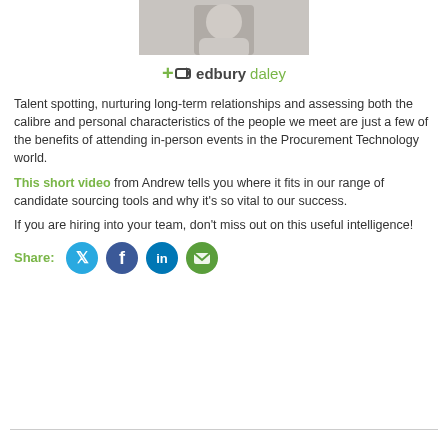[Figure (photo): Partial photo of a person (head/shoulders, cropped at the top)]
[Figure (logo): Edbury Daley logo with plus-arrow symbol in green and company name]
Talent spotting, nurturing long-term relationships and assessing both the calibre and personal characteristics of the people we meet are just a few of the benefits of attending in-person events in the Procurement Technology world.
This short video from Andrew tells you where it fits in our range of candidate sourcing tools and why it's so vital to our success.
If you are hiring into your team, don't miss out on this useful intelligence!
[Figure (infographic): Share icons row: Twitter (blue circle), Facebook (dark blue circle), LinkedIn (blue circle), Email (green circle)]